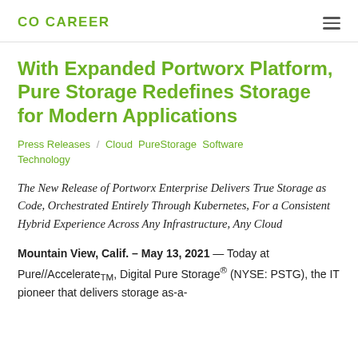CO CAREER
With Expanded Portworx Platform, Pure Storage Redefines Storage for Modern Applications
Press Releases / Cloud PureStorage Software Technology
The New Release of Portworx Enterprise Delivers True Storage as Code, Orchestrated Entirely Through Kubernetes, For a Consistent Hybrid Experience Across Any Infrastructure, Any Cloud
Mountain View, Calif. – May 13, 2021 — Today at Pure//AccelerateTM, Digital Pure Storage® (NYSE: PSTG), the IT pioneer that delivers storage as-a-